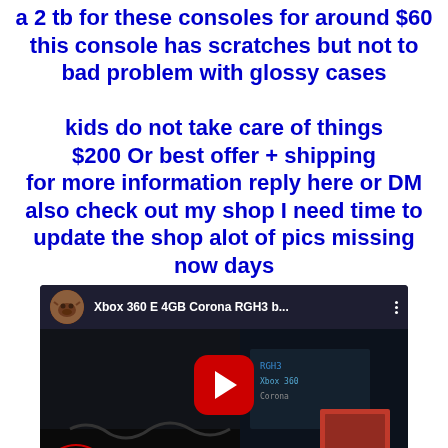a 2 tb for these consoles for around $60 this console has scratches but not to bad problem with glossy cases kids do not take care of things $200 Or best offer + shipping for more information reply here or DM also check out my shop I need time to update the shop alot of pics missing now days
[Figure (screenshot): YouTube video thumbnail showing 'Xbox 360 E 4GB Corona RGH3 b...' with a red play button in the center, channel icon showing a cartoon character, and dark background showing gaming setup with cables]